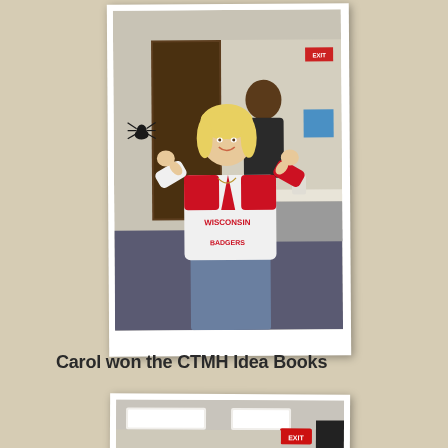[Figure (photo): A smiling blonde woman wearing a Wisconsin Badgers red and white jersey, posing with both thumbs up toward her shirt collar. Another woman stands behind her. The setting appears to be an office or meeting room with a folding table, chairs, and blue cups visible. A decorative spider is on the wall to the left.]
Carol won the CTMH Idea Books
[Figure (photo): Partial view of a room with ceiling lights, an EXIT sign in red, and a dark doorway. The room appears to be the same office/meeting space as the photo above.]